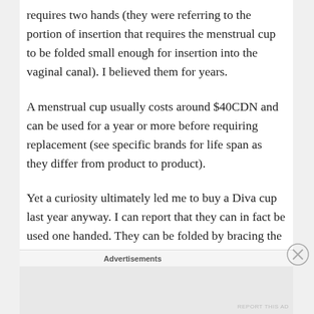requires two hands (they were referring to the portion of insertion that requires the menstrual cup to be folded small enough for insertion into the vaginal canal). I believed them for years.
A menstrual cup usually costs around $40CDN and can be used for a year or more before requiring replacement (see specific brands for life span as they differ from product to product).
Yet a curiosity ultimately led me to buy a Diva cup last year anyway. I can report that they can in fact be used one handed. They can be folded by bracing the cup against something (like your leg
Advertisements